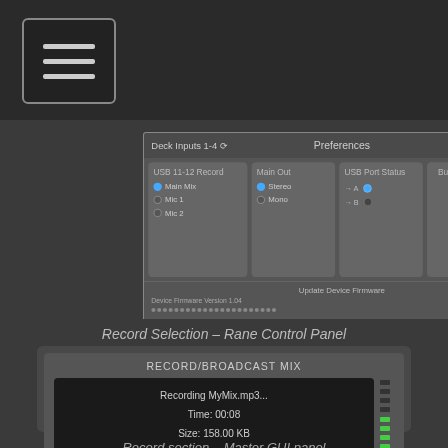[Figure (screenshot): Rane Control Panel Preferences window showing USB 11-12 Record options (Main Mix, Mic 1, Mic 2), Main Out (Stereo/Mono), USB Port Status (A active, B inactive), and Buffer Size slider at 8 ms. Also shows Update Device Firmware section with Device Firmware Version 1.04.]
Record Selection – Rane Control Panel
[Figure (screenshot): Record/Broadcast Mix panel showing a dark screen displaying 'Recording MyMix.mp3... Time: 00:08 Size: 158.00 KB' with VU meter on the right and three buttons: BCAST, REC (active/highlighted in amber), and FILE.]
Record section – Master GUI panel